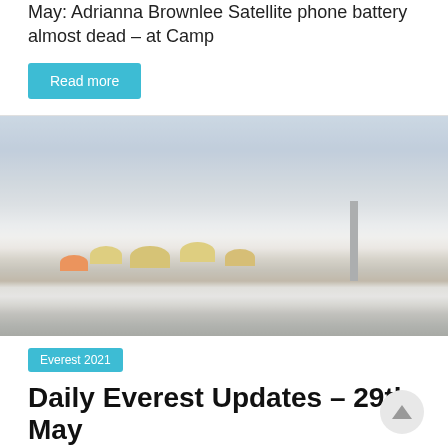May: Adrianna Brownlee  Satellite phone battery almost dead – at Camp
Read more
[Figure (photo): A snow-covered mountain camp with yellow tents partially buried in snow, foggy grey sky in the background, rocky terrain visible.]
Everest 2021
Daily Everest Updates – 29th May